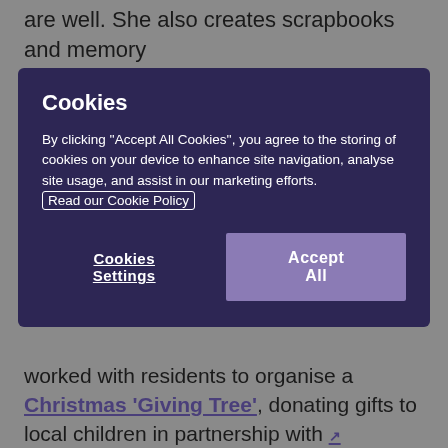are well. She also creates scrapbooks and memory
[Figure (screenshot): Cookie consent banner with dark purple background. Title 'Cookies', body text about accepting cookies, a 'Read our Cookie Policy' link in a bordered box, and two buttons: 'Cookies Settings' (text) and 'Accept All' (purple button).]
worked with residents to organise a Christmas 'Giving Tree', donating gifts to local children in partnership with Ormiston Families March Child and Family Centre.
More recently, she helped several residents to take part in the national Postcards of Kindness project, as well as a similar letter-writing campaign run by